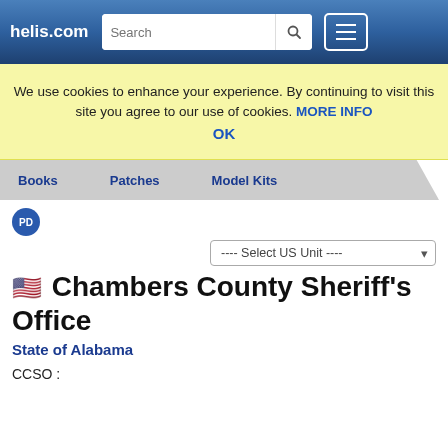helis.com
We use cookies to enhance your experience. By continuing to visit this site you agree to our use of cookies. MORE INFO OK
Books   Patches   Model Kits
[Figure (logo): PD badge icon]
---- Select US Unit ----
Chambers County Sheriff's Office
State of Alabama
CCSO :